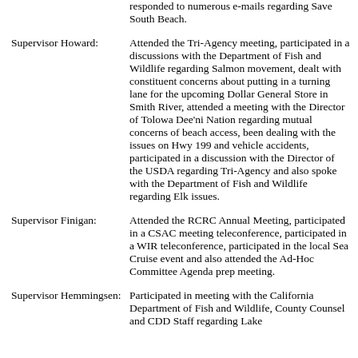responded to numerous e-mails regarding Save South Beach.
Supervisor Howard:  Attended the Tri-Agency meeting, participated in a discussions with the Department of Fish and Wildlife regarding Salmon movement, dealt with constituent concerns about putting in a turning lane for the upcoming Dollar General Store in Smith River, attended a meeting with the Director of Tolowa Dee’ni Nation regarding mutual concerns of beach access, been dealing with the issues on Hwy 199 and vehicle accidents, participated in a discussion with the Director of the USDA regarding Tri-Agency and also spoke with the Department of Fish and Wildlife regarding Elk issues.
Supervisor Finigan:  Attended the RCRC Annual Meeting, participated in a CSAC meeting teleconference, participated in a WIR teleconference, participated in the local Sea Cruise event and also attended the Ad-Hoc Committee Agenda prep meeting.
Supervisor Hemmingsen:  Participated in meeting with the California Department of Fish and Wildlife, County Counsel and CDD Staff regarding Lake